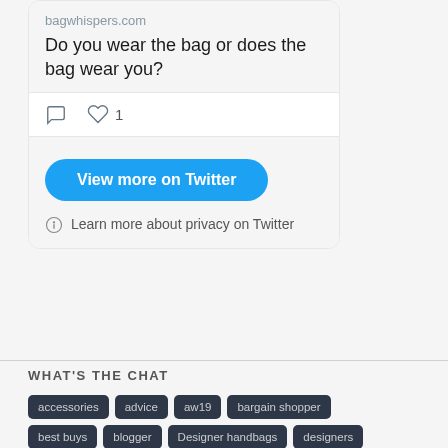bagwhispers.com
Do you wear the bag or does the bag wear you?
View more on Twitter
Learn more about privacy on Twitter
WHAT'S THE CHAT
accessories
advice
aw19
bargain shopper
best buys
blogger
Designer handbags
designers
fashion
fashion accessories designers
fashion blog